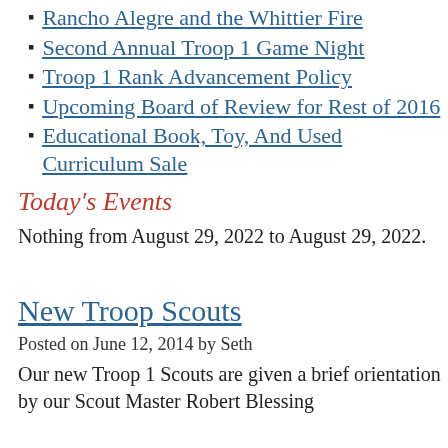Rancho Alegre and the Whittier Fire
Second Annual Troop 1 Game Night
Troop 1 Rank Advancement Policy
Upcoming Board of Review for Rest of 2016
Educational Book, Toy, And Used Curriculum Sale
Today's Events
Nothing from August 29, 2022 to August 29, 2022.
New Troop Scouts
Posted on June 12, 2014 by Seth
Our new Troop 1 Scouts are given a brief orientation by our Scout Master Robert Blessing